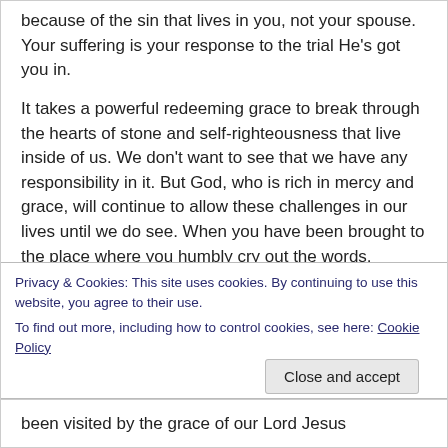because of the sin that lives in you, not your spouse. Your suffering is your response to the trial He’s got you in.
It takes a powerful redeeming grace to break through the hearts of stone and self-righteousness that live inside of us. We don’t want to see that we have any responsibility in it. But God, who is rich in mercy and grace, will continue to allow these challenges in our lives until we do see. When you have been brought to the place where you humbly cry out the words,
Privacy & Cookies: This site uses cookies. By continuing to use this website, you agree to their use.
To find out more, including how to control cookies, see here: Cookie Policy
Close and accept
been visited by the grace of our Lord Jesus